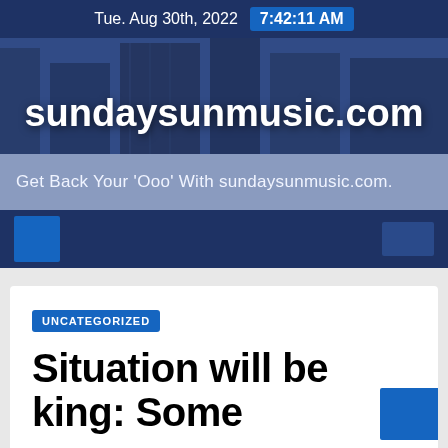Tue. Aug 30th, 2022  7:42:11 AM
sundaysunmusic.com
Get Back Your 'Ooo' With sundaysunmusic.com.
UNCATEGORIZED
Situation will be king: Some